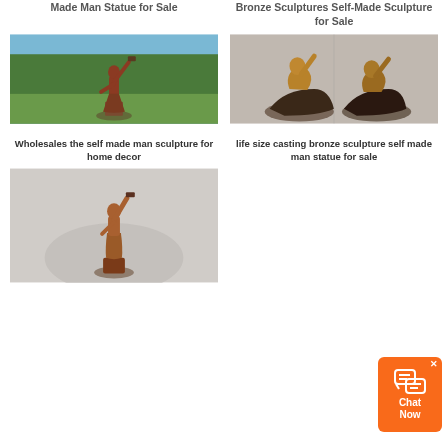Made Man Statue for Sale
Bronze Sculptures Self-Made Sculpture for Sale
[Figure (photo): Bronze self-made man statue outdoors with trees in background, figure raising hammer overhead]
[Figure (photo): Two views of a bronze self-made man sculpture seated on a rock]
Wholesales the self made man sculpture for home decor
life size casting bronze sculpture self made man statue for sale
[Figure (photo): Bronze self-made man statue on studio background, figure raising hammer overhead]